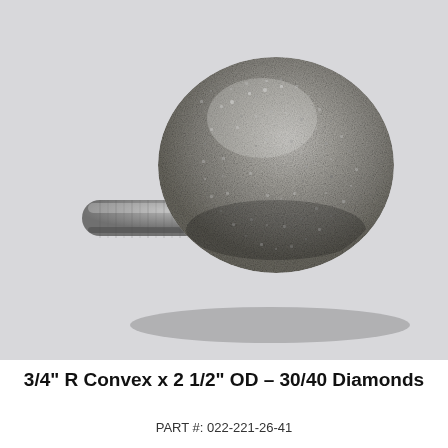[Figure (photo): A diamond-coated convex grinding wheel tool with a cylindrical metal shank extending to the left. The round wheel head is coated with diamond abrasive (30/40 grit) giving it a rough, granular gray texture. The shank is smooth polished steel. Background is light gray.]
3/4" R Convex x 2 1/2" OD – 30/40 Diamonds
PART #: 022-221-26-41